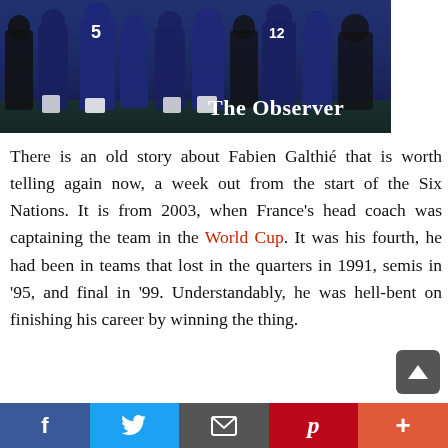[Figure (photo): Rugby players in blue jerseys running/training on a pitch, with 'The Observer' branding text overlaid in the bottom right of the image]
There is an old story about Fabien Galthié that is worth telling again now, a week out from the start of the Six Nations. It is from 2003, when France's head coach was captaining the team in the World Cup. It was his fourth, he had been in teams that lost in the quarters in 1991, semis in '95, and final in '99. Understandably, he was hell-bent on finishing his career by winning the thing.